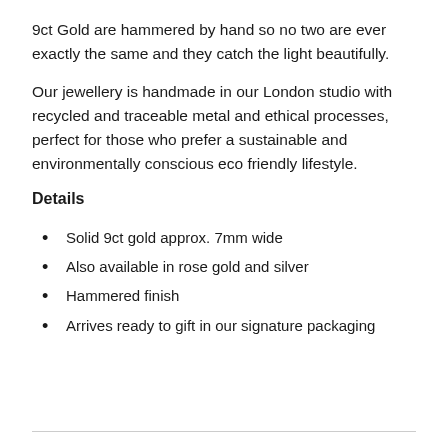9ct Gold are hammered by hand so no two are ever exactly the same and they catch the light beautifully.
Our jewellery is handmade in our London studio with recycled and traceable metal and ethical processes, perfect for those who prefer a sustainable and environmentally conscious eco friendly lifestyle.
Details
Solid 9ct gold approx. 7mm wide
Also available in rose gold and silver
Hammered finish
Arrives ready to gift in our signature packaging